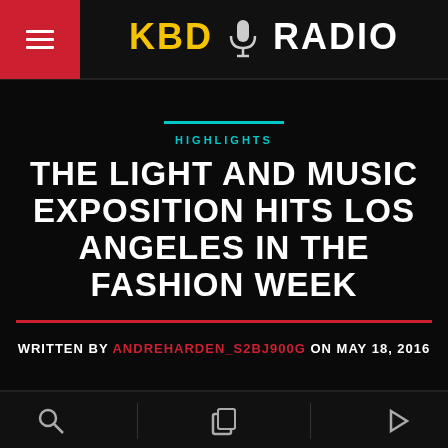[Figure (logo): KBD Radio logo with hamburger menu on red background on left, KBD in yellow and RADIO in white with microphone icon in center on dark header bar]
HIGHLIGHTS
THE LIGHT AND MUSIC EXPOSITION HITS LOS ANGELES IN THE FASHION WEEK
WRITTEN BY ANDREHARDEN_S2BJ900G ON MAY 18, 2016
[Figure (other): Bottom navigation bar with search icon, copy/share icon, and play icon]